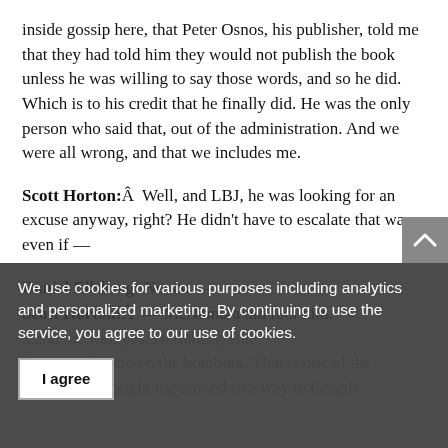inside gossip here, that Peter Osnos, his publisher, told me that they had told him they would not publish the book unless he was willing to say those words, and so he did. Which is to his credit that he finally did. He was the only person who said that, out of the administration. And we were all wrong, and that we includes me.
Scott Horton: Well, and LBJ, he was looking for an excuse anyway, right? He didn't have to escalate that war, even if —
Daniel Ellsberg: No, no —
Scott Horton: — McNamara did fool him.
...and the war, yes. Definitely. But he was a skeptic on the bombing. That is one of the things that brought me around in a way to Gareth
We use cookies for various purposes including analytics and personalized marketing. By continuing to use the service, you agree to our use of cookies.